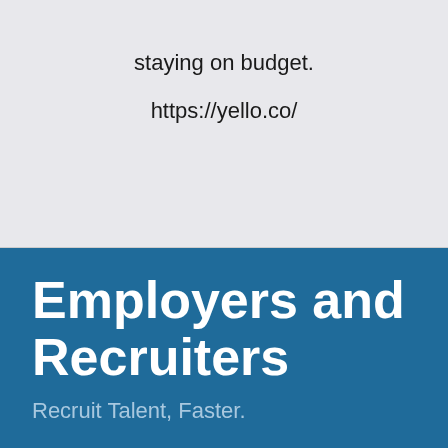staying on budget.
https://yello.co/
Employers and Recruiters
Recruit Talent, Faster.